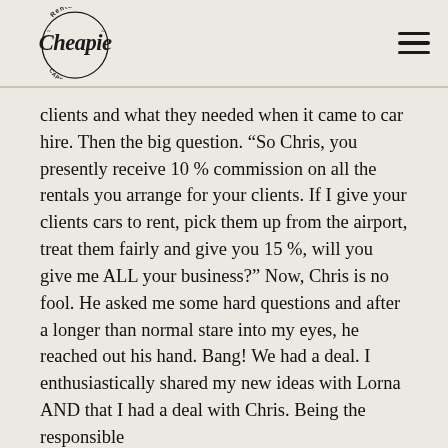Renta Cheapie Cape Town
clients and what they needed when it came to car hire. Then the big question. “So Chris, you presently receive 10 % commission on all the rentals you arrange for your clients. If I give your clients cars to rent, pick them up from the airport, treat them fairly and give you 15 %, will you give me ALL your business?” Now, Chris is no fool. He asked me some hard questions and after a longer than normal stare into my eyes, he reached out his hand. Bang! We had a deal. I enthusiastically shared my new ideas with Lorna AND that I had a deal with Chris. Being the responsible